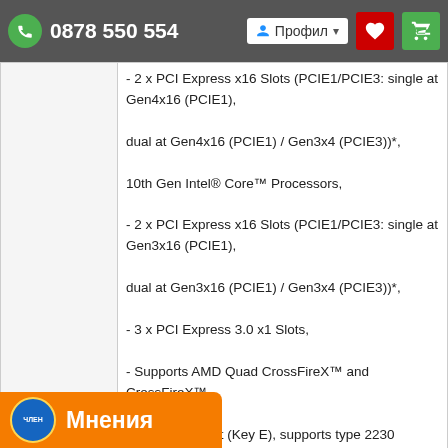0878 550 554  Профил
|  | - 2 x PCI Express x16 Slots (PCIE1/PCIE3: single at Gen4x16 (PCIE1), dual at Gen4x16 (PCIE1) / Gen3x4 (PCIE3))*, 10th Gen Intel® Core™ Processors, - 2 x PCI Express x16 Slots (PCIE1/PCIE3: single at Gen3x16 (PCIE1), dual at Gen3x16 (PCIE1) / Gen3x4 (PCIE3))*, - 3 x PCI Express 3.0 x1 Slots, - Supports AMD Quad CrossFireX™ and CrossFireX™, - 1 x M.2 Socket (Key E), supports type 2230 WiFi/BT PCIe WiFi module and Intel® CNVi (Integrated WiFi/BT), - 15 Gold Contact in VGA PCIe Slot (PCIE1) |
| Сторидж: | - 6 x SATA3 6.0 Gb/s Connectors*, - 1 x Hyper M.2 Socket (M2 1), supports M Key type 0/2280 M.2 PCI Express module up to Gen4x4 |